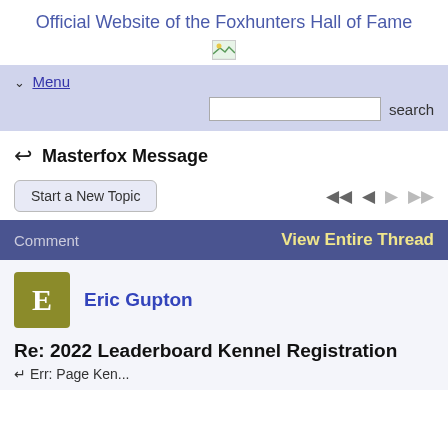Official Website of the Foxhunters Hall of Fame
[Figure (photo): Small broken image placeholder icon]
Menu (navigation bar with search field)
Masterfox Message
Start a New Topic
Comment   View Entire Thread
Eric Gupton
Re: 2022 Leaderboard Kennel Registration